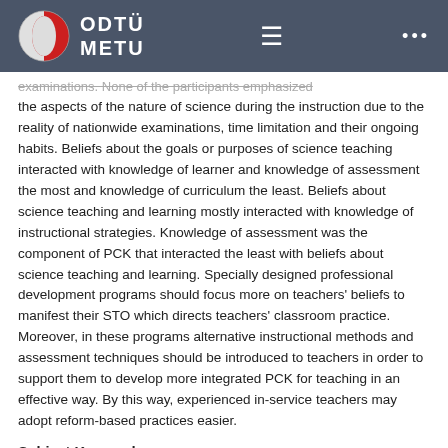ODTÜ METU
examinations. None of the participants emphasized the aspects of the nature of science during the instruction due to the reality of nationwide examinations, time limitation and their ongoing habits. Beliefs about the goals or purposes of science teaching interacted with knowledge of learner and knowledge of assessment the most and knowledge of curriculum the least. Beliefs about science teaching and learning mostly interacted with knowledge of instructional strategies. Knowledge of assessment was the component of PCK that interacted the least with beliefs about science teaching and learning. Specially designed professional development programs should focus more on teachers' beliefs to manifest their STO which directs teachers' classroom practice. Moreover, in these programs alternative instructional methods and assessment techniques should be introduced to teachers in order to support them to develop more integrated PCK for teaching in an effective way. By this way, experienced in-service teachers may adopt reform-based practices easier.
Subject Keywords